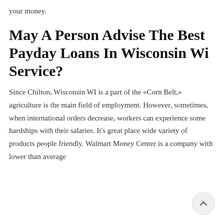your money.
May A Person Advise The Best Payday Loans In Wisconsin Wi Service?
Since Chilton, Wisconsin WI is a part of the «Corn Belt,» agriculture is the main field of employment. However, sometimes, when international orders decrease, workers can experience some hardships with their salaries. It's great place wide variety of products people friendly. Walmart Money Center is a company with lower than average